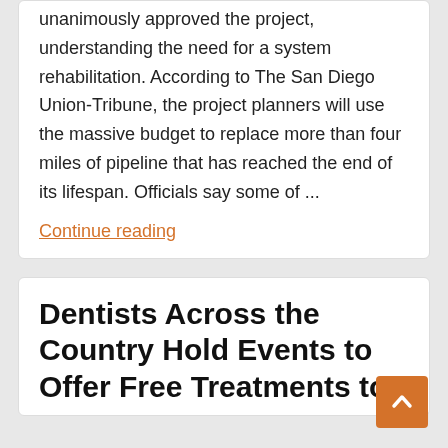unanimously approved the project, understanding the need for a system rehabilitation. According to The San Diego Union-Tribune, the project planners will use the massive budget to replace more than four miles of pipeline that has reached the end of its lifespan. Officials say some of ...
Continue reading
Dentists Across the Country Hold Events to Offer Free Treatments to